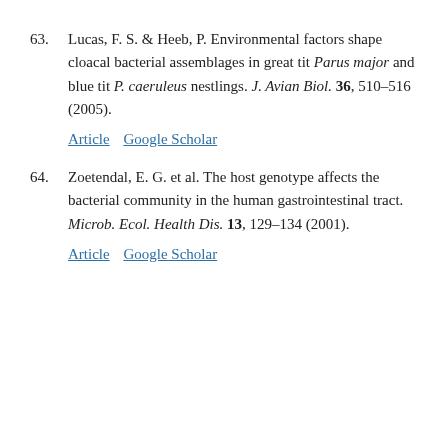63. Lucas, F. S. & Heeb, P. Environmental factors shape cloacal bacterial assemblages in great tit Parus major and blue tit P. caeruleus nestlings. J. Avian Biol. 36, 510–516 (2005).
Article   Google Scholar
64. Zoetendal, E. G. et al. The host genotype affects the bacterial community in the human gastrointestinal tract. Microb. Ecol. Health Dis. 13, 129–134 (2001).
Article   Google Scholar